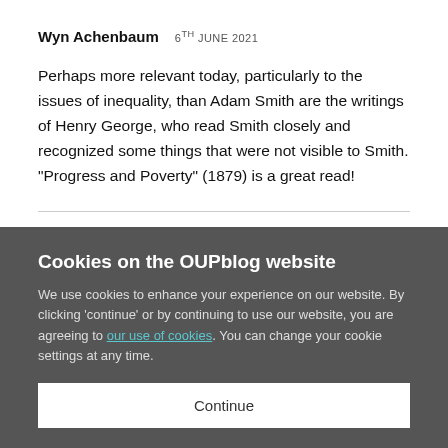Wyn Achenbaum   6TH JUNE 2021
Perhaps more relevant today, particularly to the issues of inequality, than Adam Smith are the writings of Henry George, who read Smith closely and recognized some things that were not visible to Smith. “Progress and Poverty” (1879) is a great read!
Cookies on the OUPblog website
We use cookies to enhance your experience on our website. By clicking ‘continue’ or by continuing to use our website, you are agreeing to our use of cookies. You can change your cookie settings at any time.
Continue